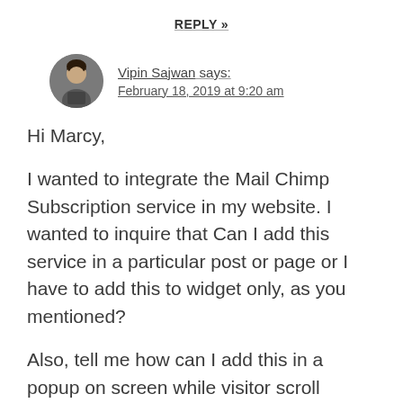REPLY »
[Figure (photo): Circular avatar photo of Vipin Sajwan]
Vipin Sajwan says:
February 18, 2019 at 9:20 am
Hi Marcy,
I wanted to integrate the Mail Chimp Subscription service in my website. I wanted to inquire that Can I add this service in a particular post or page or I have to add this to widget only, as you mentioned?
Also, tell me how can I add this in a popup on screen while visitor scroll pages?